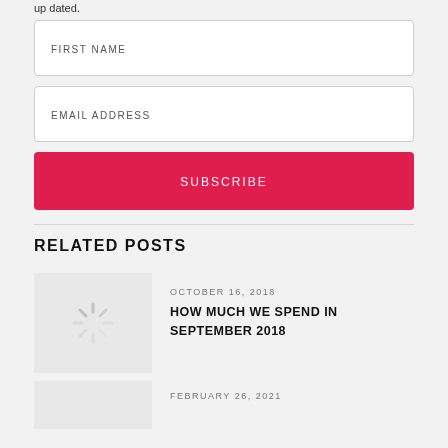up dated.
FIRST NAME
EMAIL ADDRESS
SUBSCRIBE
RELATED POSTS
OCTOBER 16, 2018
HOW MUCH WE SPEND IN SEPTEMBER 2018
FEBRUARY 26, 2021